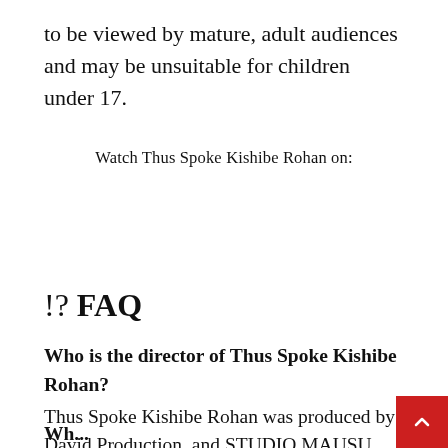to be viewed by mature, adult audiences and may be unsuitable for children under 17.
Watch Thus Spoke Kishibe Rohan on:
!? FAQ
Who is the director of Thus Spoke Kishibe Rohan? Thus Spoke Kishibe Rohan was produced by David Production, and STUDIO MAUSU and was initially released on February 18, 2021.
Who...